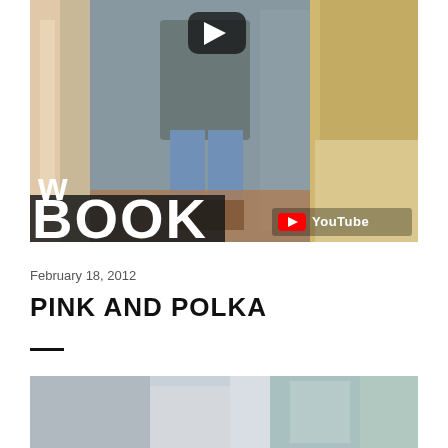[Figure (screenshot): YouTube video thumbnail showing a fashion/lookbook video. Person in jeans, blazer, and boots standing outdoors. Large white bold text reads 'W' and 'BOOK' overlaid on the image. YouTube play button icon at top center. YouTube logo badge at bottom right.]
February 18, 2012
PINK AND POLKA
[Figure (photo): Partial photograph visible at the bottom of the page, showing an outdoor scene with light blue/grey tones.]